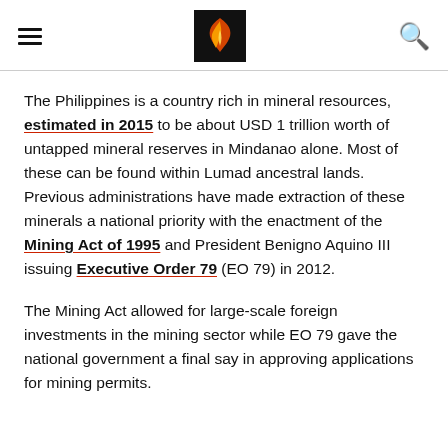Navigation header with hamburger menu, logo, and search icon
The Philippines is a country rich in mineral resources, estimated in 2015 to be about USD 1 trillion worth of untapped mineral reserves in Mindanao alone. Most of these can be found within Lumad ancestral lands. Previous administrations have made extraction of these minerals a national priority with the enactment of the Mining Act of 1995 and President Benigno Aquino III issuing Executive Order 79 (EO 79) in 2012.
The Mining Act allowed for large-scale foreign investments in the mining sector while EO 79 gave the national government a final say in approving applications for mining permits.